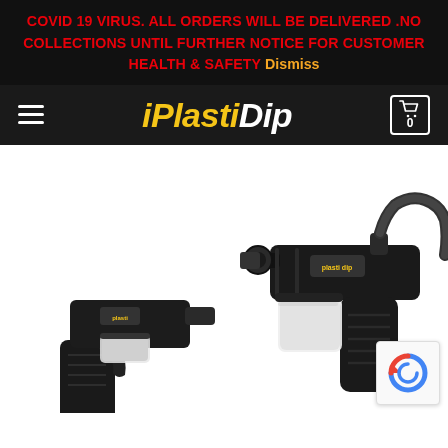COVID 19 Virus. ALL ORDERS WILL BE DELIVERED .NO COLLECTIONS UNTIL FURTHER NOTICE FOR CUSTOMER HEALTH & SAFETY Dismiss
iPlastiDip
[Figure (photo): Product photo showing two black Plasti Dip spray gun applicators on a white background. One gun is shown upright/assembled with a hose attachment, and another partially visible at bottom left. A reCAPTCHA logo badge appears in the bottom right corner.]